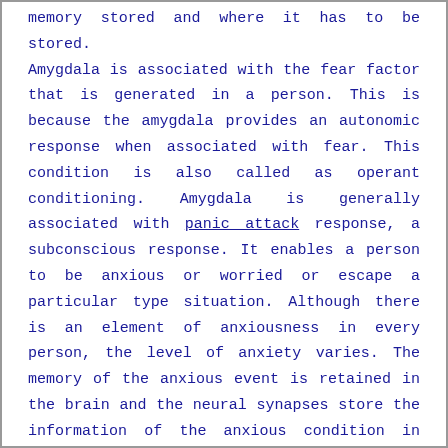memory stored and where it has to be stored.
Amygdala is associated with the fear factor that is generated in a person. This is because the amygdala provides an autonomic response when associated with fear. This condition is also called as operant conditioning. Amygdala is generally associated with panic attack response, a subconscious response. It enables a person to be anxious or worried or escape a particular type situation. Although there is an element of anxiousness in every person, the level of anxiety varies. The memory of the anxious event is retained in the brain and the neural synapses store the information of the anxious condition in which fear was the response created by the amygdala. This facilitates the release of stress hormones which in turn yield to the symptoms associated with anxiety disorders.